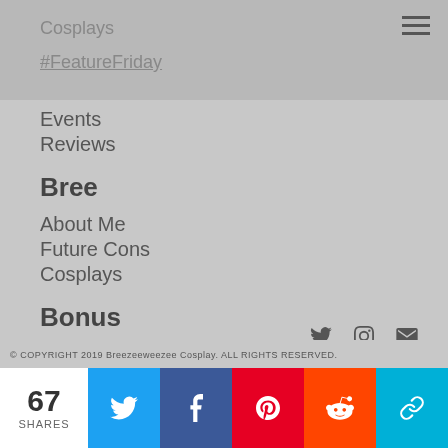Cosplays
#FeatureFriday
Events
Reviews
Bree
About Me
Future Cons
Cosplays
Bonus
Contact
Terms of Use
© COPYRIGHT 2019 Breezeeweezee Cosplay. ALL RIGHTS RESERVED.
67 SHARES